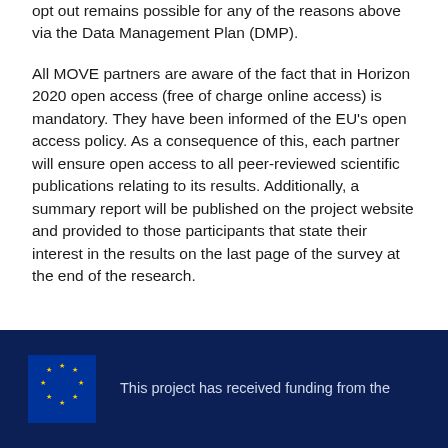opt out remains possible for any of the reasons above via the Data Management Plan (DMP).
All MOVE partners are aware of the fact that in Horizon 2020 open access (free of charge online access) is mandatory. They have been informed of the EU's open access policy. As a consequence of this, each partner will ensure open access to all peer-reviewed scientific publications relating to its results. Additionally, a summary report will be published on the project website and provided to those participants that state their interest in the results on the last page of the survey at the end of the research.
This project has received funding from the